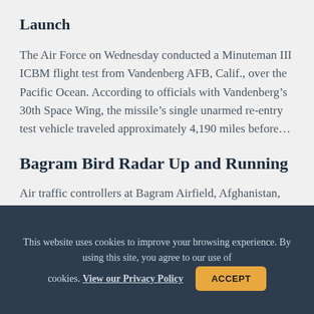Launch
The Air Force on Wednesday conducted a Minuteman III ICBM flight test from Vandenberg AFB, Calif., over the Pacific Ocean. According to officials with Vandenberg’s 30th Space Wing, the missile’s single unarmed re-entry test vehicle traveled approximately 4,190 miles before…
Bagram Bird Radar Up and Running
Air traffic controllers at Bagram Airfield, Afghanistan, are now using a system called Merlin to help aircraft
This website uses cookies to improve your browsing experience. By using this site, you agree to our use of cookies. View our Privacy Policy ACCEPT